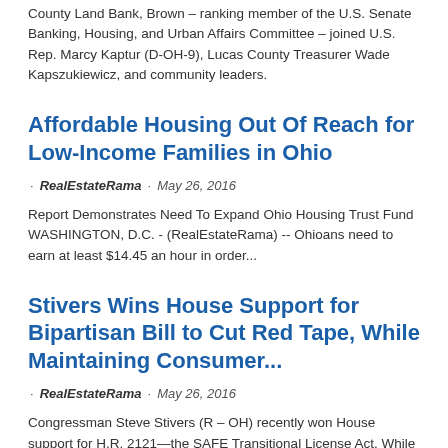County Land Bank, Brown – ranking member of the U.S. Senate Banking, Housing, and Urban Affairs Committee – joined U.S. Rep. Marcy Kaptur (D-OH-9), Lucas County Treasurer Wade Kapszukiewicz, and community leaders.
Affordable Housing Out Of Reach for Low-Income Families in Ohio
· RealEstateRama · May 26, 2016
Report Demonstrates Need To Expand Ohio Housing Trust Fund WASHINGTON, D.C. - (RealEstateRama) -- Ohioans need to earn at least $14.45 an hour in order...
Stivers Wins House Support for Bipartisan Bill to Cut Red Tape, While Maintaining Consumer...
· RealEstateRama · May 26, 2016
Congressman Steve Stivers (R – OH) recently won House support for H.R. 2121—the SAFE Transitional License Act. While maintaining high standards for mortgage loan originators (MLOs), the bill ensures that these professionals will have more flexibility when they transition jobs between bank and non-bank